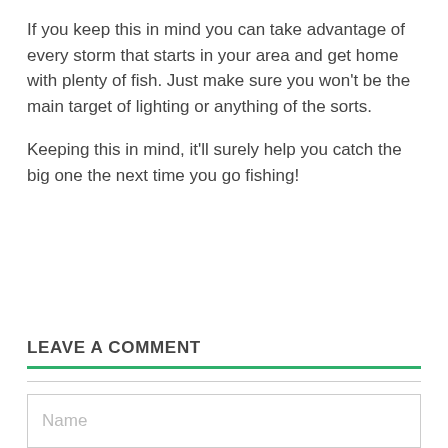If you keep this in mind you can take advantage of every storm that starts in your area and get home with plenty of fish. Just make sure you won't be the main target of lighting or anything of the sorts.
Keeping this in mind, it'll surely help you catch the big one the next time you go fishing!
LEAVE A COMMENT